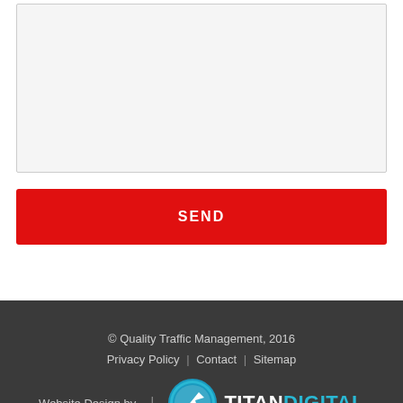[Figure (other): Text area input box with light gray background and border]
SEND
© Quality Traffic Management, 2016
Privacy Policy | Contact | Sitemap
Website Design by | TITANDIGITAL